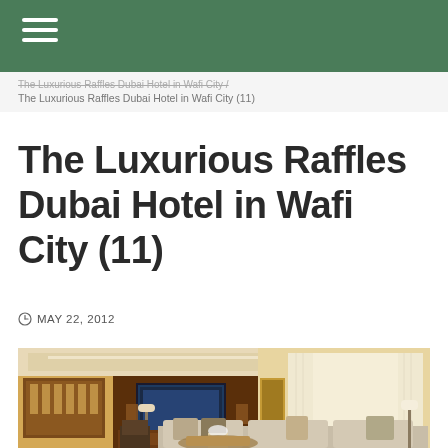The Luxurious Raffles Dubai Hotel in Wafi City / The Luxurious Raffles Dubai Hotel in Wafi City (11)
The Luxurious Raffles Dubai Hotel in Wafi City (11)
MAY 22, 2012
[Figure (photo): Luxurious hotel suite interior at Raffles Dubai, showing a large living room with a flat-screen TV on a wooden feature wall, ornate ethnic artwork, cream sofas, decorative pillows, floor lamps, and sheer white curtains covering floor-to-ceiling windows.]